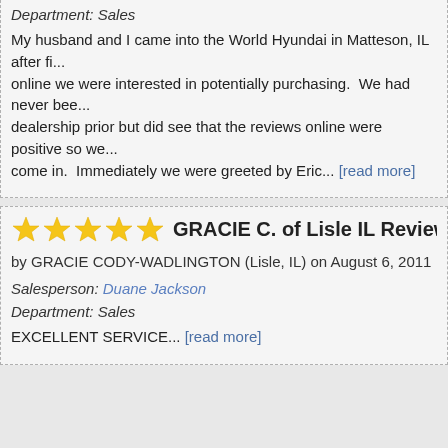Department: Sales
My husband and I came into the World Hyundai in Matteson, IL after finding online we were interested in potentially purchasing. We had never been to this dealership prior but did see that the reviews online were positive so we decided to come in. Immediately we were greeted by Eric... [read more]
GRACIE C. of Lisle IL Reviews World Hyundai Ma
by GRACIE CODY-WADLINGTON (Lisle, IL) on August 6, 2011
Salesperson: Duane Jackson
Department: Sales
EXCELLENT SERVICE... [read more]